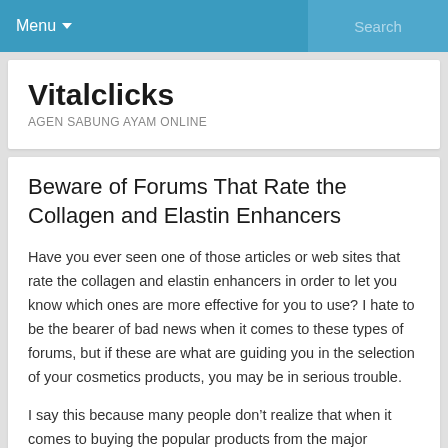Menu   Search
Vitalclicks
AGEN SABUNG AYAM ONLINE
Beware of Forums That Rate the Collagen and Elastin Enhancers
Have you ever seen one of those articles or web sites that rate the collagen and elastin enhancers in order to let you know which ones are more effective for you to use? I hate to be the bearer of bad news when it comes to these types of forums, but if these are what are guiding you in the selection of your cosmetics products, you may be in serious trouble.
I say this because many people don’t realize that when it comes to buying the popular products from the major cosmetics corporations , they are getting creams and lotions that contain a host of chemicals that may adversely affect your health.